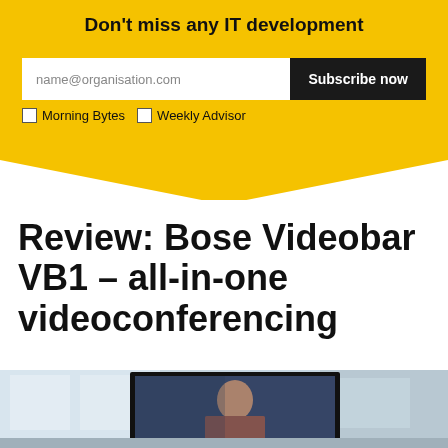Don't miss any IT development
name@organisation.com
Subscribe now
Morning Bytes
Weekly Advisor
Review: Bose Videobar VB1 – all-in-one videoconferencing
[Figure (photo): Photo of a person on a video conference screen, viewed in a meeting room setting]